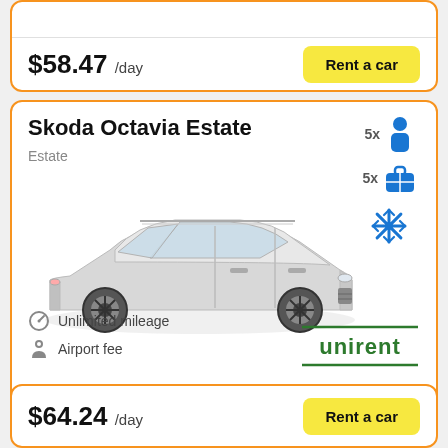$58.47 /day
Rent a car
Skoda Octavia Estate
Estate
5x passengers, 5x bags, air conditioning
[Figure (photo): Silver Skoda Octavia Estate station wagon car, side-front view]
Unlimited mileage
Airport fee
[Figure (logo): Unirent car rental logo in green text]
$64.24 /day
Rent a car